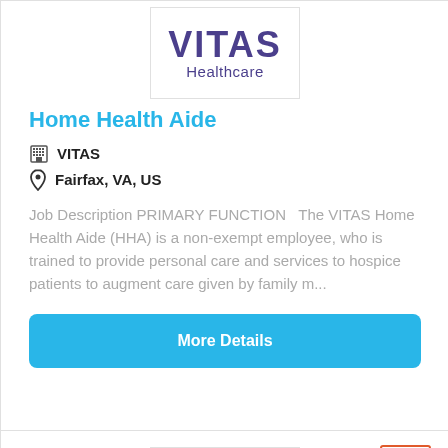[Figure (logo): VITAS Healthcare logo inside a bordered box]
Home Health Aide
VITAS
Fairfax, VA, US
Job Description PRIMARY FUNCTION   The VITAS Home Health Aide (HHA) is a non-exempt employee, who is trained to provide personal care and services to hospice patients to augment care given by family m...
More Details
NEW
[Figure (logo): American logo with mountain icon]